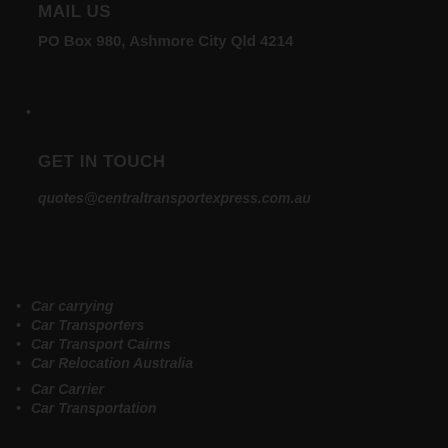MAIL US
PO Box 980, Ashmore City Qld 4214
GET IN TOUCH
quotes@centraltransportexpress.com.au
Car carrying
Car Transporters
Car Transport Cairns
Car Relocation Australia
Car Carrier
Car Transportation